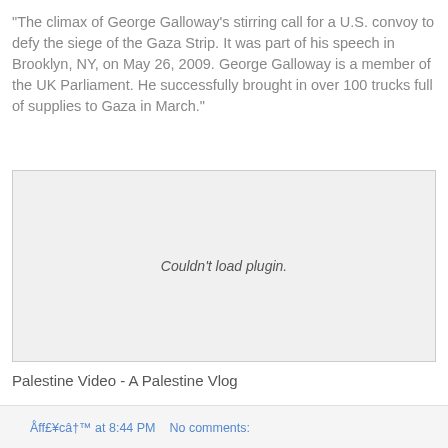"The climax of George Galloway's stirring call for a U.S. convoy to defy the siege of the Gaza Strip. It was part of his speech in Brooklyn, NY, on May 26, 2009. George Galloway is a member of the UK Parliament. He successfully brought in over 100 trucks full of supplies to Gaza in March."
[Figure (other): Embedded video plugin placeholder showing 'Couldn't load plugin.' message]
Palestine Video - A Palestine Vlog
Åff£¥câ†™ at 8:44 PM   No comments: